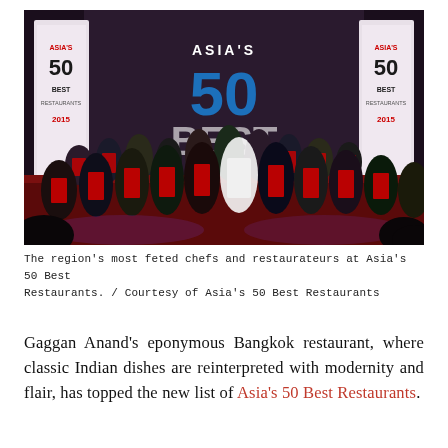[Figure (photo): Group photo of chefs and restaurateurs at Asia's 50 Best Restaurants event. They are standing in front of a large backdrop with the 'Asia's 50 Best 2015' logo. Many are wearing red scarves/stoles. The event appears to be in a dark venue with red carpet.]
The region's most feted chefs and restaurateurs at Asia's 50 Best Restaurants. / Courtesy of Asia's 50 Best Restaurants
Gaggan Anand's eponymous Bangkok restaurant, where classic Indian dishes are reinterpreted with modernity and flair, has topped the new list of Asia's 50 Best Restaurants.